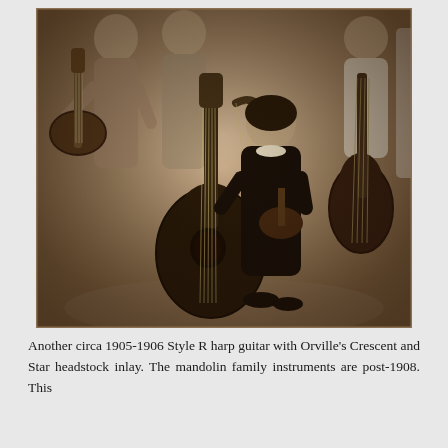[Figure (photo): Sepia-toned vintage photograph of four people (likely women) posing with stringed instruments including a large harp guitar, mandolins, and what appears to be a bass instrument. One person is seated in the center holding a mandolin, while others stand around her. The photo dates to the early 1900s.]
Another circa 1905-1906 Style R harp guitar with Orville's Crescent and Star headstock inlay. The mandolin family instruments are post-1908. This